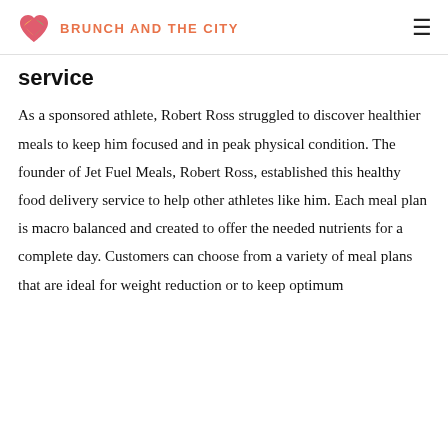BRUNCH AND THE CITY
service
As a sponsored athlete, Robert Ross struggled to discover healthier meals to keep him focused and in peak physical condition. The founder of Jet Fuel Meals, Robert Ross, established this healthy food delivery service to help other athletes like him. Each meal plan is macro balanced and created to offer the needed nutrients for a complete day. Customers can choose from a variety of meal plans that are ideal for weight reduction or to keep optimum